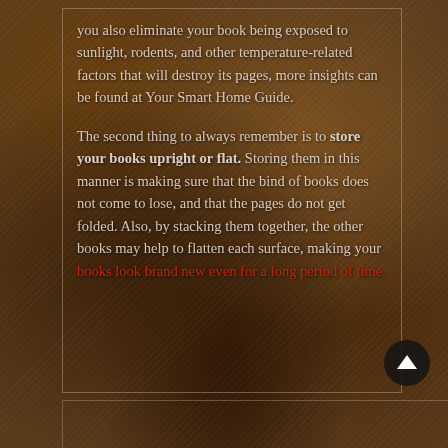you also eliminate your book being exposed to sunlight, rodents, and other temperature-related factors that will destroy its pages, more insights can be found at Your Smart Home Guide.

The second thing to always remember is to store your books upright or flat. Storing them in this manner is making sure that the bind of books does not come to lose, and that the pages do not get folded. Also, by stacking them together, the other books may help to flatten each surface, making your books look brand new even for a long period of time.